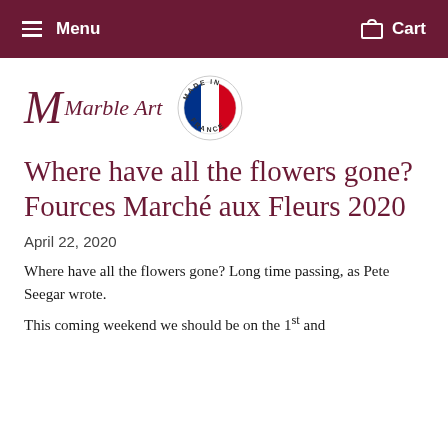Menu   Cart
[Figure (logo): Marble Art logo with cursive M and 'Marble Art' text, alongside a circular 'Made in France' badge with French flag]
Where have all the flowers gone? Fources Marché aux Fleurs 2020
April 22, 2020
Where have all the flowers gone? Long time passing, as Pete Seegar wrote.
This coming weekend we should be on the 1st and